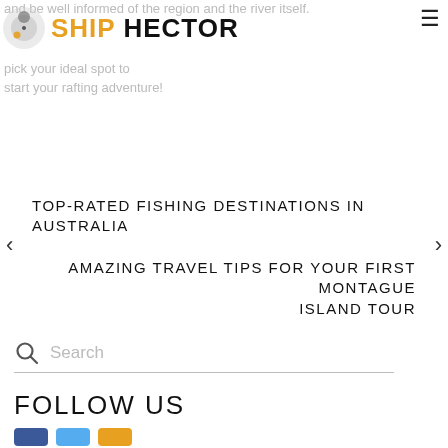and be well informed of the region and the river itself.
[Figure (logo): Ship Hector logo: circular grey and orange orbit icon followed by text 'SHIP' in orange and 'HECTOR' in black]
pick your ideal spot to start your rafting adventure!
TOP-RATED FISHING DESTINATIONS IN AUSTRALIA
AMAZING TRAVEL TIPS FOR YOUR FIRST MONTAGUE ISLAND TOUR
Search
FOLLOW US